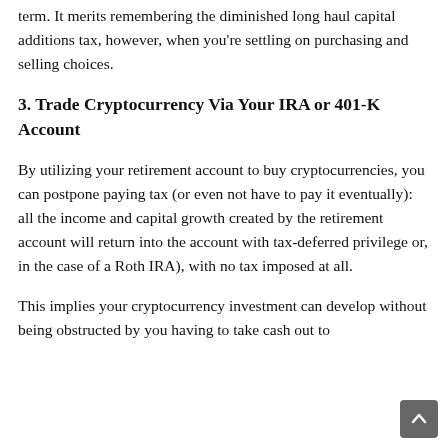term. It merits remembering the diminished long haul capital additions tax, however, when you're settling on purchasing and selling choices.
3. Trade Cryptocurrency Via Your IRA or 401-K Account
By utilizing your retirement account to buy cryptocurrencies, you can postpone paying tax (or even not have to pay it eventually): all the income and capital growth created by the retirement account will return into the account with tax-deferred privilege or, in the case of a Roth IRA), with no tax imposed at all.
This implies your cryptocurrency investment can develop without being obstructed by you having to take cash out to